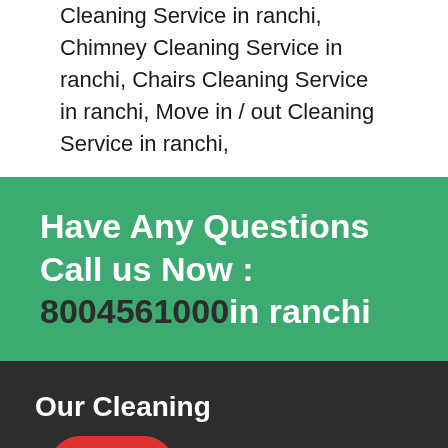Cleaning Service in ranchi, Chimney Cleaning Service in ranchi, Chairs Cleaning Service in ranchi, Move in / out Cleaning Service in ranchi,
Have Any Questions Call us Now : 8004561000in ranchi
Our Cleaning
House Cleaning
Office Cleaning
[Figure (other): Red call-to-action button with phone icon and text CALL US NOW]